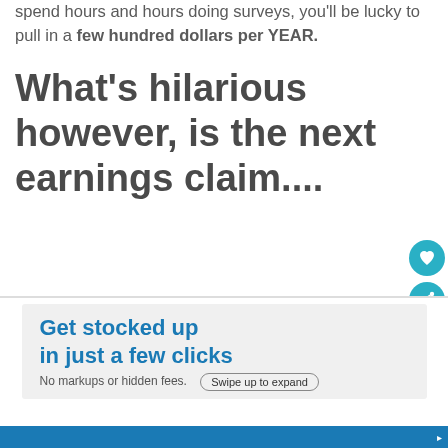spend hours and hours doing surveys, you'll be lucky to pull in a few hundred dollars per YEAR.
What's hilarious however, is the next earnings claim....
[Figure (screenshot): Partial screenshot of an 'Accounts' page with a 'REAL SCREENSHOT' stamp in red, and text 'Finally Saving' visible on the right side.]